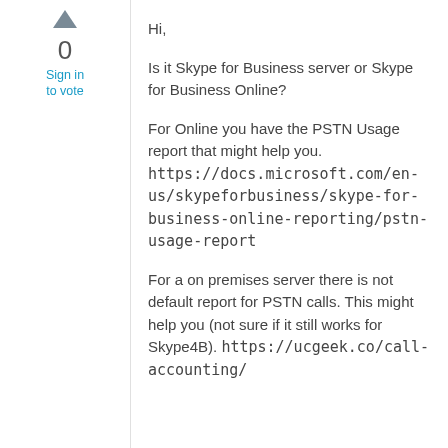[Figure (other): Upward triangle vote arrow icon]
0
Sign in to vote
Hi,
Is it Skype for Business server or Skype for Business Online?
For Online you have the PSTN Usage report that might help you. https://docs.microsoft.com/en-us/skypeforbusiness/skype-for-business-online-reporting/pstn-usage-report
For a on premises server there is not default report for PSTN calls. This might help you (not sure if it still works for Skype4B). https://ucgeek.co/call-accounting/